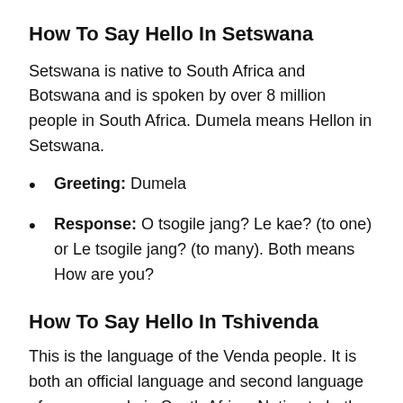How To Say Hello In Setswana
Setswana is native to South Africa and Botswana and is spoken by over 8 million people in South Africa. Dumela means Hellon in Setswana.
Greeting: Dumela
Response: O tsogile jang? Le kae? (to one) or Le tsogile jang? (to many). Both means How are you?
How To Say Hello In Tshivenda
This is the language of the Venda people. It is both an official language and second language of some people in South Africa. Native to both Zimbabwe and